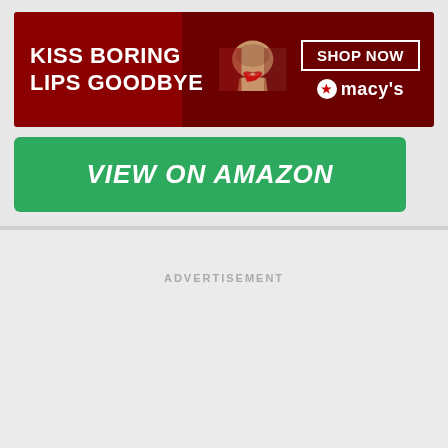[Figure (infographic): Macy's banner advertisement with dark red background, model face with red lips on right side, text 'KISS BORING LIPS GOODBYE' on left, 'SHOP NOW' button and Macy's star logo on right]
[Figure (infographic): Green 'VIEW ON AMAZON' call-to-action button]
ADVERTISEMENT